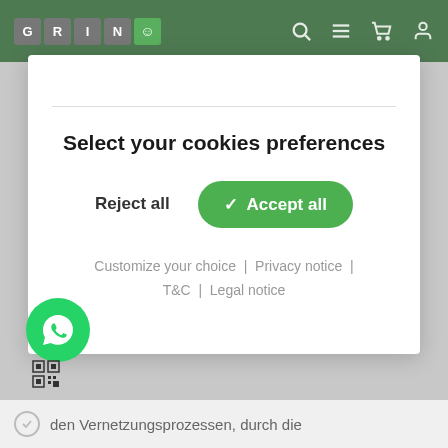[Figure (screenshot): GRIN website header bar with logo letters and navigation icons on green background]
Select your cookies preferences
Reject all
✓ Accept all
Customize your choice | Privacy notice | T&C | Legal notice
[Figure (illustration): WhatsApp green circular chat bubble icon]
[Figure (other): QR code small icon]
den Vernetzungsprozessen, durch die